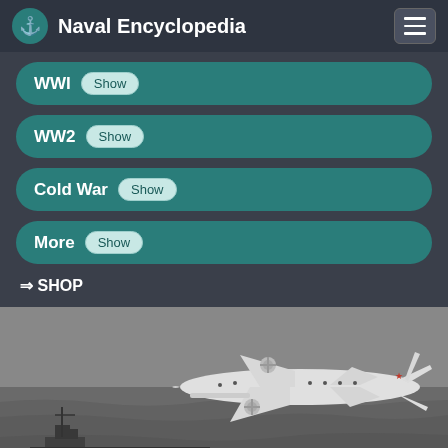Naval Encyclopedia
WWI Show
WW2 Show
Cold War Show
More Show
⇒ SHOP
[Figure (photo): Black and white aerial photograph of a Soviet maritime patrol aircraft (likely an Ilyushin Il-38) flying over the ocean, with a naval vessel visible below on the left side.]